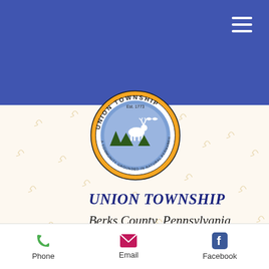Union Township website mobile header
[Figure (logo): Union Township circular seal/logo with orange border, blue center, deer and trees imagery, text 'UNION TOWNSHIP' around top and 'Est. 1773' and 'A COMMUNITY GROUNDED IN NATURAL PERMANENCY' around bottom]
UNION TOWNSHIP
Berks County, Pennsylvania
NG CHECKS PAY YOUR SEWER & W
Phone   Email   Facebook